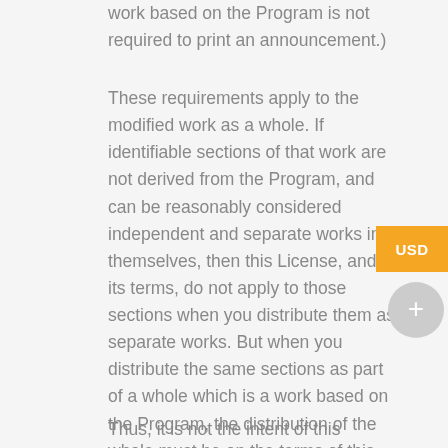work based on the Program is not required to print an announcement.)
These requirements apply to the modified work as a whole. If identifiable sections of that work are not derived from the Program, and can be reasonably considered independent and separate works in themselves, then this License, and its terms, do not apply to those sections when you distribute them as separate works. But when you distribute the same sections as part of a whole which is a work based on the Program, the distribution of the whole must be on the terms of this License, whose permissions for other licensees extend to the entire whole, and thus to each and every part regardless of who wrote it.
Thus, it is not the intent of this section to